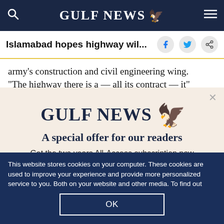GULF NEWS
Islamabad hopes highway wil...
army's construction and civil engineering wing. "The highway there is a — all its contract — it"
[Figure (logo): Gulf News logo with eagle icon]
A special offer for our readers
Get the two years All-Access subscription now
This website stores cookies on your computer. These cookies are used to improve your experience and provide more personalized service to you. Both on your website and other media. To find out more about the cookies and data we use, please check out our Privacy Policy.
OK